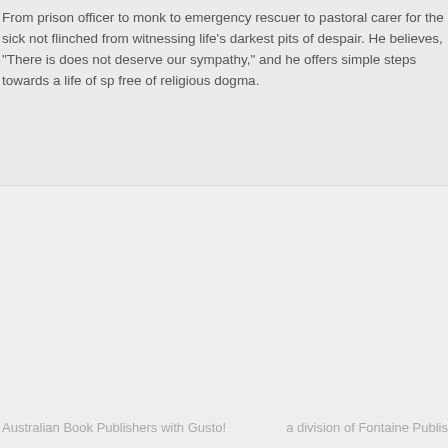From prison officer to monk to emergency rescuer to pastoral carer for the sick not flinched from witnessing life's darkest pits of despair. He believes, "There is does not deserve our sympathy," and he offers simple steps towards a life of sp free of religious dogma.
Australian Book Publishers with Gusto!    a division of Fontaine Publis